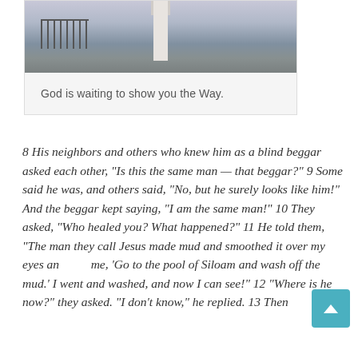[Figure (photo): Photograph of a lighthouse near water with metal fence/railing visible, taken at dusk or dawn with muted sky colors]
God is waiting to show you the Way.
8 His neighbors and others who knew him as a blind beggar asked each other, “Is this the same man — that beggar?” 9 Some said he was, and others said, “No, but he surely looks like him!” And the beggar kept saying, “I am the same man!” 10 They asked, “Who healed you? What happened?” 11 He told them, “The man they call Jesus made mud and smoothed it over my eyes and told me, ‘Go to the pool of Siloam and wash off the mud.’ I went and washed, and now I can see!” 12 “Where is he now?” they asked. “I don’t know,” he replied. 13 Then